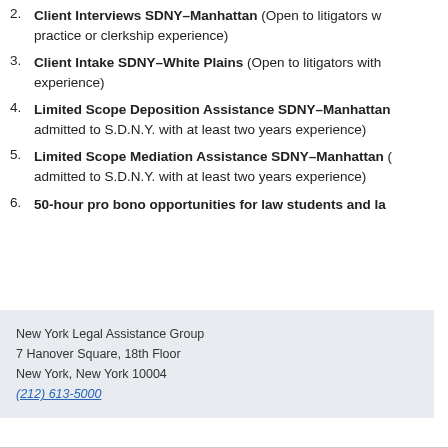2. Client Interviews SDNY–Manhattan (Open to litigators w practice or clerkship experience)
3. Client Intake SDNY–White Plains (Open to litigators with experience)
4. Limited Scope Deposition Assistance SDNY–Manhattan admitted to S.D.N.Y. with at least two years experience)
5. Limited Scope Mediation Assistance SDNY–Manhattan ( admitted to S.D.N.Y. with at least two years experience)
6. 50-hour pro bono opportunities for law students and la
New York Legal Assistance Group
7 Hanover Square, 18th Floor
New York, New York 10004
(212) 613-5000